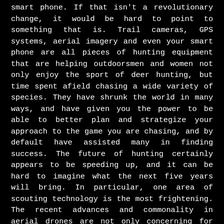smart phone. If that isn't a revolutionary change, it would be hard to point to something that is. Trail cameras, GPS systems, aerial imagery and even your smart phone are all pieces of hunting equipment that are helping outdoorsmen and women not only enjoy the sport of deer hunting, but time spent afield chasing a wide variety of species. They have shrunk the world in many ways, and have given you the power to be able to better plan and strategize your approach to the game you are chasing, and by default have assisted many in finding success. The future of hunting certainly appears to be speeding up, and it can be hard to imagine what the next five years will bring. In particular, one area of scouting technology is the most frightening. The recent advances and commonality in aerial drones are not only concerning for scouting game but hunter harassment. Do we draw the line at mobile game cameras? After these cameras Before drones? Or do we draw a line at